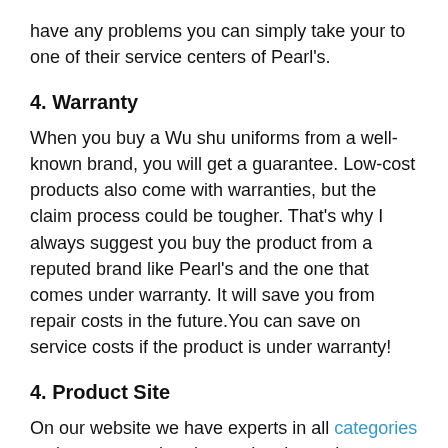have any problems you can simply take your to one of their service centers of Pearl's.
4. Warranty
When you buy a Wu shu uniforms from a well-known brand, you will get a guarantee. Low-cost products also come with warranties, but the claim process could be tougher. That's why I always suggest you buy the product from a reputed brand like Pearl's and the one that comes under warranty. It will save you from repair costs in the future.You can save on service costs if the product is under warranty!
4. Product Site
On our website we have experts in all categories and no matter what the product is, we have a better review or list about it. The products on our list are based on expert picks, advice and 20 hours of research. That's why when